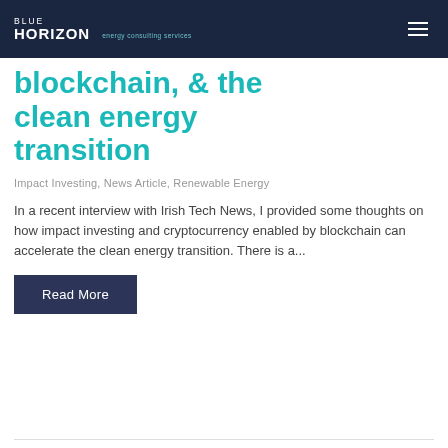BLUE HORIZON energy consulting services
blockchain, & the clean energy transition
Impact Investing, News Article, Renewable Energy
In a recent interview with Irish Tech News, I provided some thoughts on how impact investing and cryptocurrency enabled by blockchain can accelerate the clean energy transition. There is a...
Read More